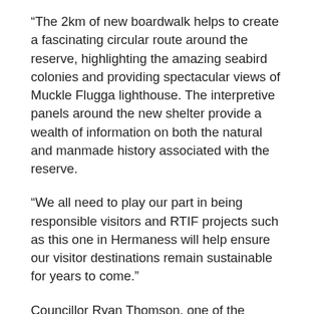“The 2km of new boardwalk helps to create a fascinating circular route around the reserve, highlighting the amazing seabird colonies and providing spectacular views of Muckle Flugga lighthouse. The interpretive panels around the new shelter provide a wealth of information on both the natural and manmade history associated with the reserve.
“We all need to play our part in being responsible visitors and RTIF projects such as this one in Hermaness will help ensure our visitor destinations remain sustainable for years to come.”
Councillor Ryan Thomson, one of the councillors for the North Isles ward, said: “This is great news for tourism in Shetland and in Unst particularly. Hermaness NNR is an outstanding natural visitor attraction that draws many folk to the isles every year. These upgraded facilities will improve the visitor experience and help to protect the natural environment for the future.”